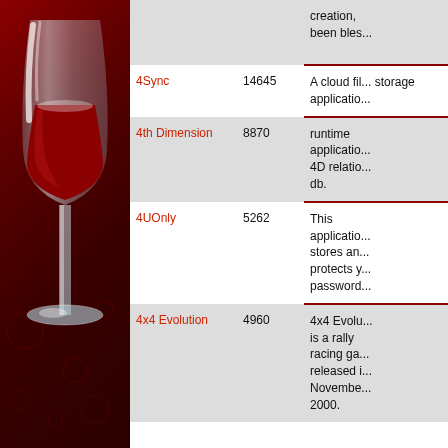[Figure (illustration): Wine glass logo on dark red background with decorative circular patterns, white/silver glass with red wine]
| Name | ID | Description |
| --- | --- | --- |
|  |  | creation, been bles... |
| 4Sync | 14645 | A cloud fi... storage applicatio... |
| 4th Dimension | 8870 | runtime applicatio... 4D relatio... db. |
| 4UOnly | 5262 | This applicatio... stores an... protects y... password... |
| 4x4 Evolution | 4960 | 4x4 Evolu... is a rally racing ga... released i... November... 2000. |